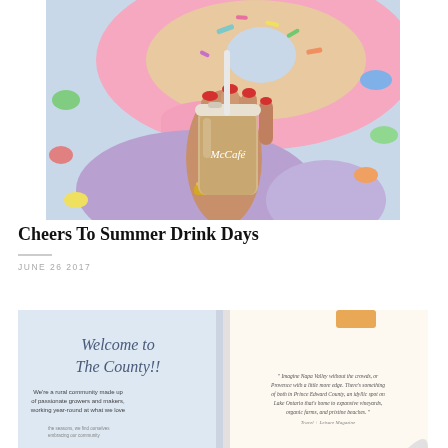[Figure (photo): Hand holding a McCafe iced coffee cup against a colorful mural wall with a large donut painting in pink with sprinkles and a purple hand shape]
Cheers To Summer Drink Days
JUNE 26 2017
[Figure (photo): Open magazine/brochure spread reading 'Welcome to The County!!' with text about being a rural community of passionate growers and makers, and a quote about Prince Edward County]